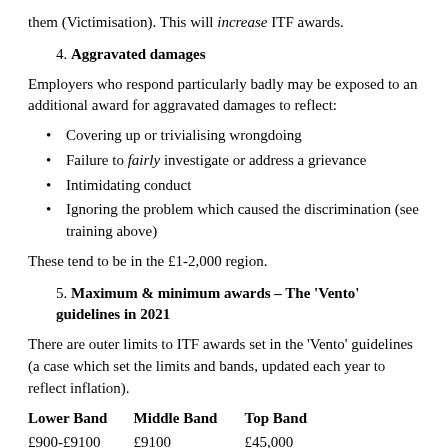them (Victimisation). This will increase ITF awards.
4. Aggravated damages
Employers who respond particularly badly may be exposed to an additional award for aggravated damages to reflect:
Covering up or trivialising wrongdoing
Failure to fairly investigate or address a grievance
Intimidating conduct
Ignoring the problem which caused the discrimination (see training above)
These tend to be in the £1-2,000 region.
5. Maximum & minimum awards – The 'Vento' guidelines in 2021
There are outer limits to ITF awards set in the 'Vento' guidelines (a case which set the limits and bands, updated each year to reflect inflation).
| Lower Band | Middle Band | Top Band |
| --- | --- | --- |
| £900-£9100 | £9100 | £45,000 |
| Less serious | Serious cases | A lengthy campaign of |